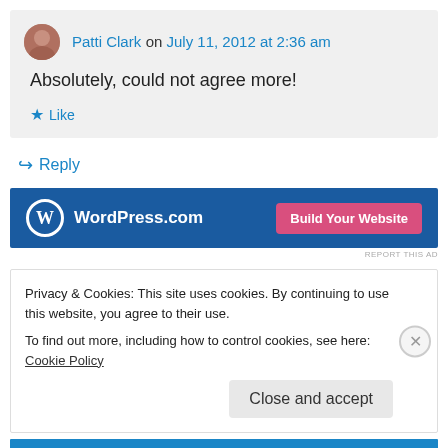Patti Clark on July 11, 2012 at 2:36 am
Absolutely, could not agree more!
Like
Reply
[Figure (screenshot): WordPress.com advertisement banner with logo and 'Build Your Website' pink button]
REPORT THIS AD
Privacy & Cookies: This site uses cookies. By continuing to use this website, you agree to their use.
To find out more, including how to control cookies, see here: Cookie Policy
Close and accept